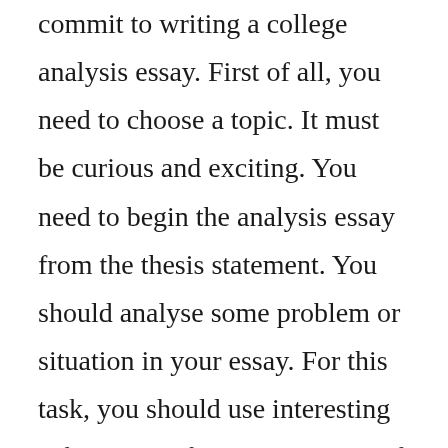commit to writing a college analysis essay. First of all, you need to choose a topic. It must be curious and exciting. You need to begin the analysis essay from the thesis statement. You should analyse some problem or situation in your essay. For this task, you should use interesting information, facts, stories, etc. If you want to successfully write analysis essay, you should have the appropriate means and ways of use information. First, you must define the